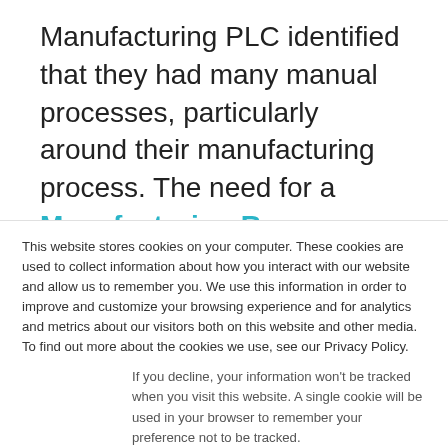Manufacturing PLC identified that they had many manual processes, particularly around their manufacturing process. The need for a Manufacturing Resource Planning (MRP) software to assist with their heavily manual manufacturing processes was therefore identified. The analysis was performed to document current processes and
This website stores cookies on your computer. These cookies are used to collect information about how you interact with our website and allow us to remember you. We use this information in order to improve and customize your browsing experience and for analytics and metrics about our visitors both on this website and other media. To find out more about the cookies we use, see our Privacy Policy.
If you decline, your information won't be tracked when you visit this website. A single cookie will be used in your browser to remember your preference not to be tracked.